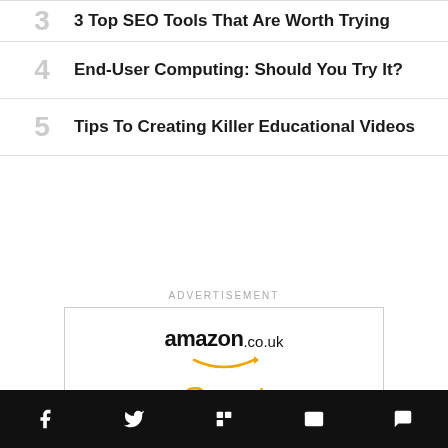3 Top SEO Tools That Are Worth Trying
4 End-User Computing: Should You Try It?
5 Tips To Creating Killer Educational Videos
ADVERTISEMENT
[Figure (other): Amazon.co.uk advertisement showing 'Great Selection Low' in orange text with Amazon logo and smile arrow]
Social share bar with Facebook, Twitter, Flipboard, Email, and Comment icons